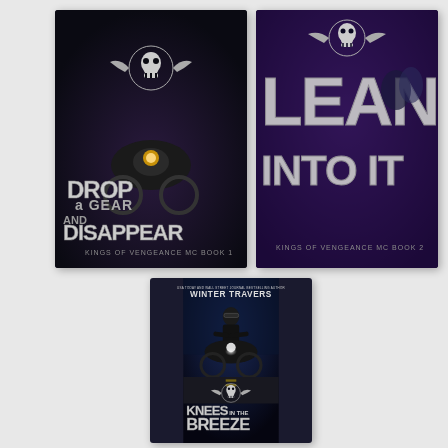[Figure (illustration): Book cover: 'Drop a Gear and Disappear' - Kings of Vengeance MC Book 1. Dark motorcycle scene with skull and wings emblem, silver metallic text on dark/purple background.]
[Figure (illustration): Book cover: 'Lean Into It' - Kings of Vengeance MC Book 2. Dark purple background with large silver metallic letters, skull and wings emblem at top, couple embracing.]
[Figure (illustration): Book cover: 'Knees in the Breeze' - Kings of Vengeance MC Book 3 by Winter Travers. Dark blue/grey stormy sky background, man on motorcycle wearing sunglasses, skull and wings emblem, silver metallic text at bottom. USA Today and Wall Street Journal Bestselling Author.]